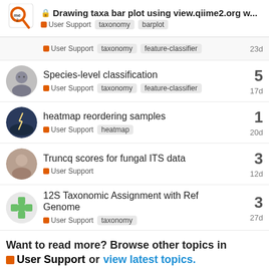Drawing taxa bar plot using view.qiime2.org w... | User Support | taxonomy | barplot
Species-level classification | User Support | taxonomy | feature-classifier | 5 | 17d
heatmap reordering samples | User Support | heatmap | 1 | 20d
Truncq scores for fungal ITS data | User Support | 3 | 12d
12S Taxonomic Assignment with Ref Genome | User Support | taxonomy | 3 | 27d
Want to read more? Browse other topics in User Support or view latest topics.